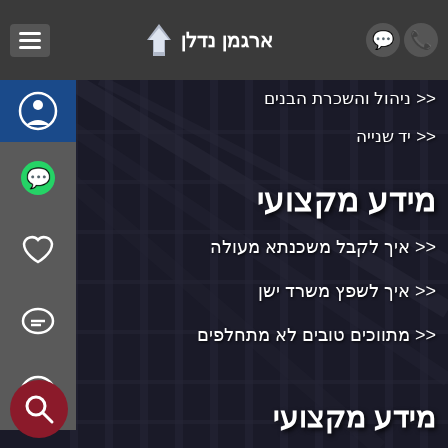ארגמן נדלן
<< ניהול והשכרת הבנים
<< יד שנייה
מידע מקצועי
<< איך לקבל משכנתא מעולה
<< איך לשפץ משרד ישן
<< מתווכים טובים לא מתחלפים
מידע מקצועי